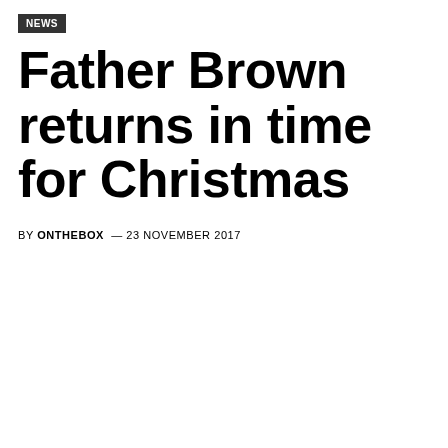NEWS
Father Brown returns in time for Christmas
BY ONTHEBOX — 23 NOVEMBER 2017